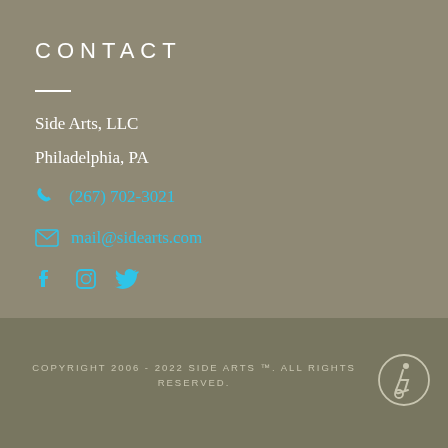CONTACT
Side Arts, LLC
Philadelphia, PA
(267) 702-3021
mail@sidearts.com
[Figure (illustration): Social media icons: Facebook, Instagram, Twitter in cyan color]
COPYRIGHT 2006 - 2022 SIDE ARTS ™. ALL RIGHTS RESERVED.